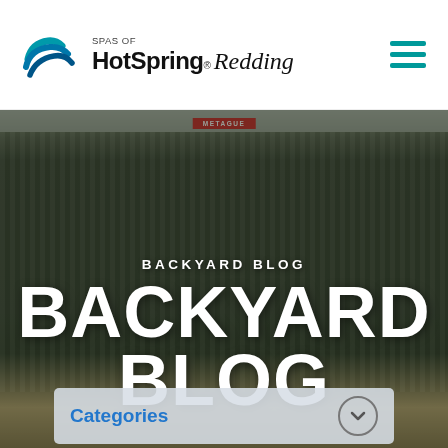HotSpring® Spas of Redding
[Figure (photo): Exterior photo of a corrugated metal commercial building with dark green/grey siding, used as hero background image]
BACKYARD BLOG
BACKYARD BLOG